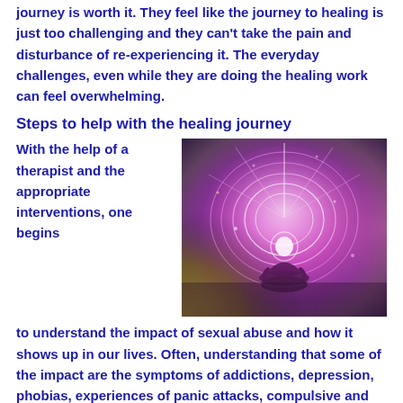journey is worth it. They feel like the journey to healing is just too challenging and they can't take the pain and disturbance of re-experiencing it. The everyday challenges, even while they are doing the healing work can feel overwhelming.
Steps to help with the healing journey
[Figure (photo): Colorful spiritual meditation illustration showing a silhouetted figure in lotus pose surrounded by glowing circular energy patterns in pink, purple, yellow, and green hues]
With the help of a therapist and the appropriate interventions, one begins to understand the impact of sexual abuse and how it shows up in our lives. Often, understanding that some of the impact are the symptoms of addictions, depression, phobias, experiences of panic attacks, compulsive and impulsive behavioral patterns,